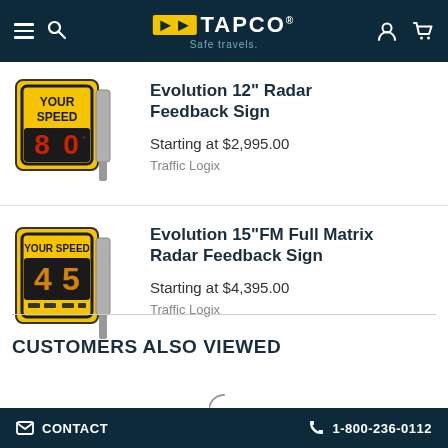TAPCO Safe travels.
Evolution 12" Radar Feedback Sign
Starting at $2,995.00
Traffic Logix
Evolution 15"FM Full Matrix Radar Feedback Sign
Starting at $4,395.00
Traffic Logix
CUSTOMERS ALSO VIEWED
CONTACT   1-800-236-0112